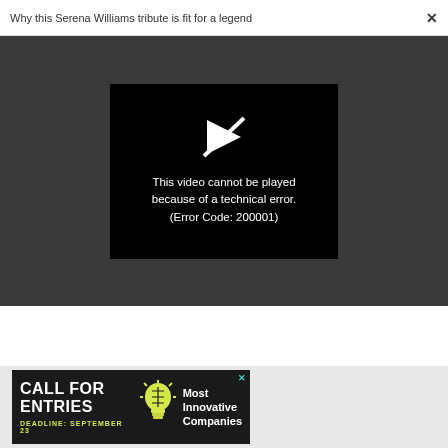Why this Serena Williams tribute is fit for a legend  ×
[Figure (screenshot): Video player showing error message: 'This video cannot be played because of a technical error. (Error Code: 200001)' with broken play button icon on black background, set against dark gray background]
[Figure (screenshot): Advertisement banner: 'CALL FOR ENTRIES DEADLINE: SEPTEMBER 23' with lightbulb icon and 'Most Innovative Companies' text on dark background]